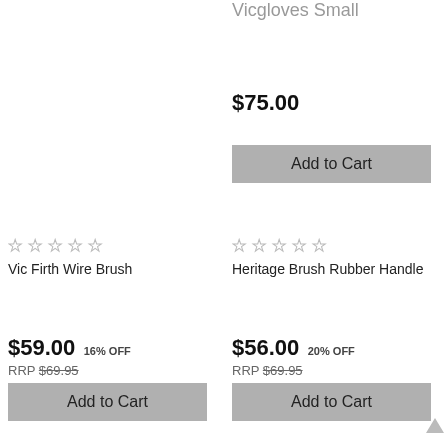Vicgloves Small
$75.00
Add to Cart
☆☆☆☆☆
Vic Firth Wire Brush
☆☆☆☆☆
Heritage Brush Rubber Handle
$59.00 16% OFF RRP $69.95
$56.00 20% OFF RRP $69.95
Add to Cart
Add to Cart